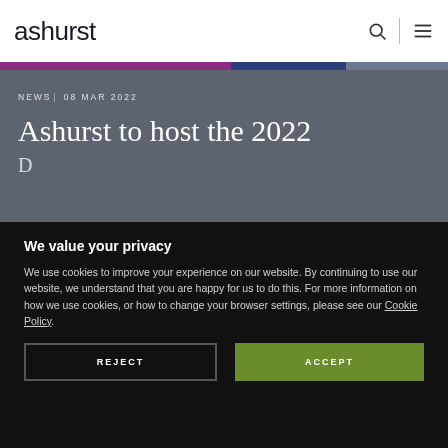ashurst
NEWS  08 MAR 2022
Ashurst to host the 2022
We value your privacy
We use cookies to improve your experience on our website. By continuing to use our website, we understand that you are happy for us to do this. For more information on how we use cookies, or how to change your browser settings, please see our Cookie Policy.
REJECT
ACCEPT